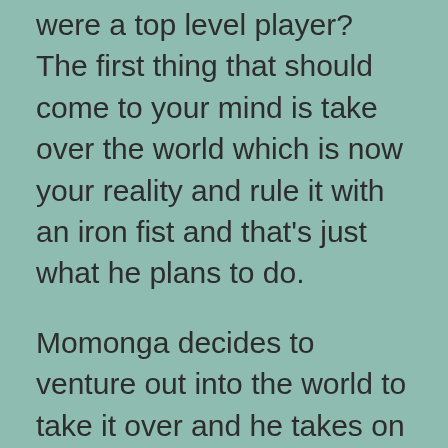were a top level player? The first thing that should come to your mind is take over the world which is now your reality and rule it with an iron fist and that's just what he plans to do.

Momonga decides to venture out into the world to take it over and he takes on the name Ains Ooal Gown. He may be locked in the game but instead of going insane or panicking, he remains calm and simply takes over his guild and all the NPCs also. While Ains Ooal Gown may be like a level 100, he takes on low level jobs in an attempt to get people on his side. He not only wants to rule, he wants to rule and